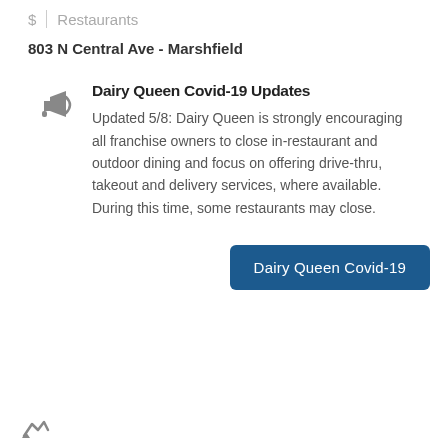$ | Restaurants
803 N Central Ave - Marshfield
Dairy Queen Covid-19 Updates
Updated 5/8: Dairy Queen is strongly encouraging all franchise owners to close in-restaurant and outdoor dining and focus on offering drive-thru, takeout and delivery services, where available. During this time, some restaurants may close.
Dairy Queen Covid-19